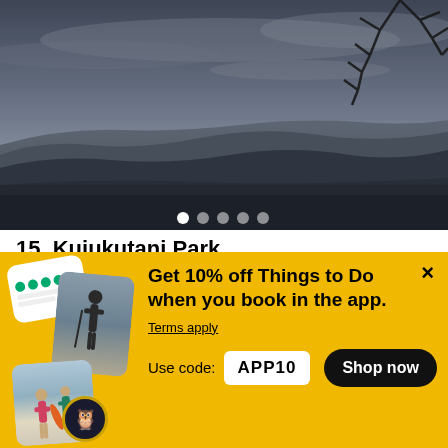[Figure (photo): Scenic landscape view from Kujukutani Park showing forested hills under a cloudy dramatic sky with bare tree branches in the upper right corner. Image carousel with 5 dots shown at bottom.]
15. Kujukutani Park
4 out of 5 stars  30
Lookouts
[Figure (infographic): Yellow promotional banner: 'Get 10% off Things to Do when you book in the app. Terms apply. Use code: APP10 Shop now'. Decorative stacked cards with app UI on the left side. Close X button top right.]